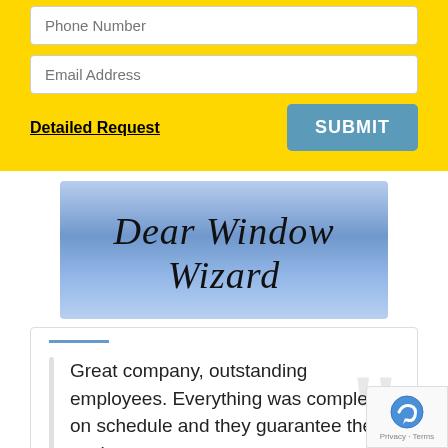Phone Number
Email Address
Detailed Request
SUBMIT
[Figure (illustration): Dear Window Wizard script text banner with blue gradient background]
Great company, outstanding employees. Everything was completed on schedule and they guarantee their work.
— Robert B of Boise
[Figure (illustration): JOIN THE Window Wizard yellow banner with person photo on left side]